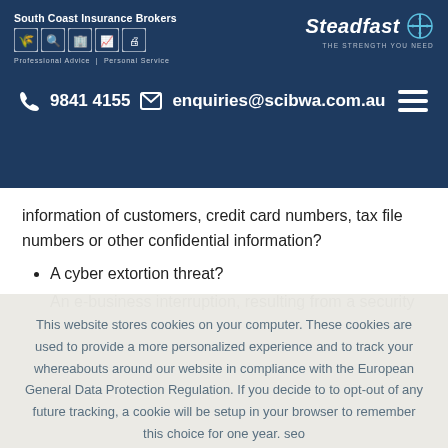[Figure (logo): South Coast Insurance Brokers logo with icons and tagline 'Professional Advice | Personal Service']
[Figure (logo): Steadfast logo with compass rose icon and tagline 'THE STRENGTH YOU NEED']
9841 4155  enquiries@scibwa.com.au
information of customers, credit card numbers, tax file numbers or other confidential information?
A cyber extortion threat?
An e-business interruption, resulting from a security
This website stores cookies on your computer. These cookies are used to provide a more personalized experience and to track your whereabouts around our website in compliance with the European General Data Protection Regulation. If you decide to to opt-out of any future tracking, a cookie will be setup in your browser to remember this choice for one year. seo
Accept
X